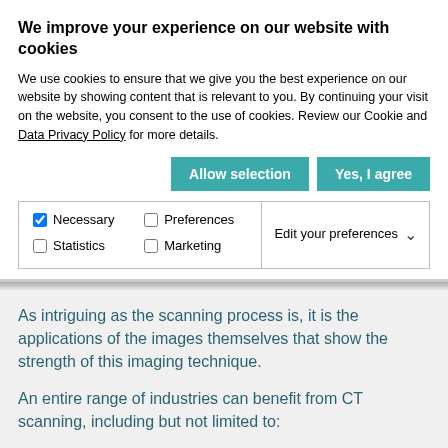We improve your experience on our website with cookies
We use cookies to ensure that we give you the best experience on our website by showing content that is relevant to you. By continuing your visit on the website, you consent to the use of cookies. Review our Cookie and Data Privacy Policy for more details.
As intriguing as the scanning process is, it is the applications of the images themselves that show the strength of this imaging technique.
An entire range of industries can benefit from CT scanning, including but not limited to:
Electronics
Automotive
Aerospace
Foundry and Casting